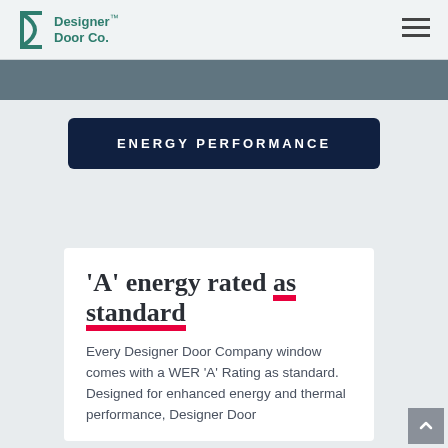Designer Door Co.™
ENERGY PERFORMANCE
'A' energy rated as standard
Every Designer Door Company window comes with a WER 'A' Rating as standard. Designed for enhanced energy and thermal performance, Designer Door Company...